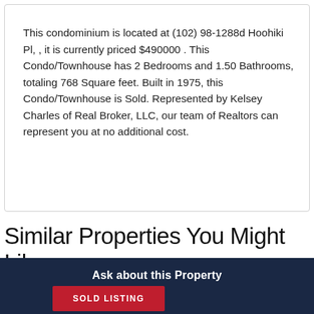This condominium is located at (102) 98-1288d Hoohiki Pl, , it is currently priced $490000 . This Condo/Townhouse has 2 Bedrooms and 1.50 Bathrooms, totaling 768 Square feet. Built in 1975, this Condo/Townhouse is Sold. Represented by Kelsey Charles of Real Broker, LLC, our team of Realtors can represent you at no additional cost.
Similar Properties You Might Like
Ask about this Property
SOLD LISTING